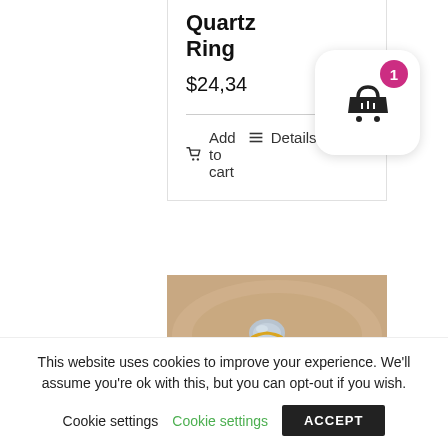Quartz Ring
$24,34
🛒 Add to cart   ≡ Details
[Figure (photo): A gold quartz ring with a pale blue/grey stone on a wooden surface background]
This website uses cookies to improve your experience. We'll assume you're ok with this, but you can opt-out if you wish.
Cookie settings   ACCEPT